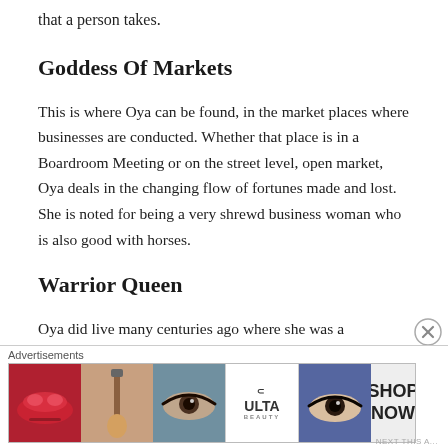that a person takes.
Goddess Of Markets
This is where Oya can be found, in the market places where businesses are conducted. Whether that place is in a Boardroom Meeting or on the street level, open market, Oya deals in the changing flow of fortunes made and lost. She is noted for being a very shrewd business woman who is also good with horses.
Warrior Queen
Oya did live many centuries ago where she was a
Advertisements
[Figure (photo): Banner advertisement for ULTA beauty products showing makeup imagery including lips, makeup brush, eye, ULTA logo, and eye with 'SHOP NOW' text]